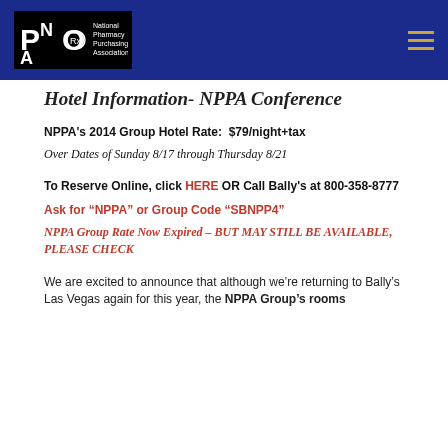[Figure (logo): NPPA - National Pharmacy Purchasing Association logo on dark navy header bar]
Hotel Information- NPPA Conference
NPPA's 2014 Group Hotel Rate:  $79/night+tax
Over Dates of Sunday 8/17 through Thursday 8/21
To Reserve Online, click HERE OR Call Bally's at 800-358-8777
Ask for “NPPA” or Group Code “SBNPP4”
NPPA Group Rate Now Expired – BUT MAY STILL BE AVAILABLE, PLEASE CHECK
We are excited to announce that although we’re returning to Bally’s Las Vegas again for this year, the NPPA Group’s rooms